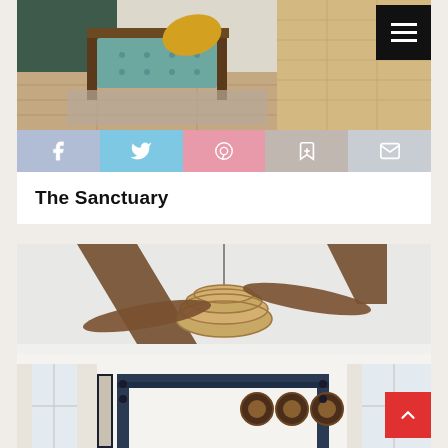[Figure (photo): Bedroom scene showing a teal upholstered bench/bed with wooden frame, yellow throw blanket, and hardwood floors]
[Figure (infographic): Social sharing bar with Facebook, Twitter, Pinterest, Bookmark, and Email buttons]
The Sanctuary
[Figure (photo): Bedroom interior with white ceiling, dark wood exposed beams, wicker/rattan chandelier light fixture, and four-poster bed frame in dark blue/navy]